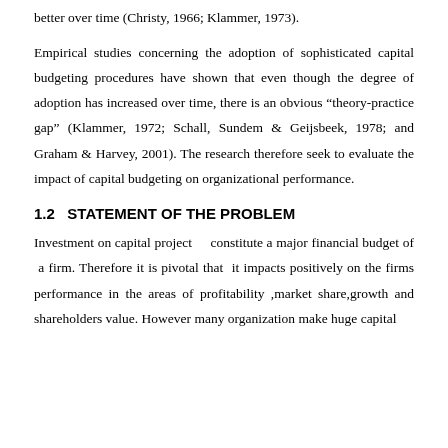better over time (Christy, 1966; Klammer, 1973).
Empirical studies concerning the adoption of sophisticated capital budgeting procedures have shown that even though the degree of adoption has increased over time, there is an obvious “theory-practice gap” (Klammer, 1972; Schall, Sundem & Geijsbeek, 1978; and Graham & Harvey, 2001). The research therefore seek to evaluate the impact of capital budgeting on organizational performance.
1.2   STATEMENT OF THE PROBLEM
Investment on capital project    constitute a major financial budget of  a firm. Therefore it is pivotal that  it impacts positively on the firms performance in the areas of profitability ,market share,growth and shareholders value. However many organization make huge capital